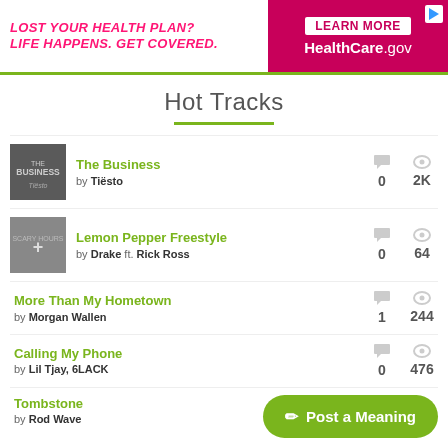[Figure (other): Advertisement banner: LOST YOUR HEALTH PLAN? LIFE HAPPENS. GET COVERED. | LEARN MORE HealthCare.gov]
Hot Tracks
The Business by Tiësto — 0 comments, 2K views
Lemon Pepper Freestyle by Drake ft. Rick Ross — 0 comments, 64 views
More Than My Hometown by Morgan Wallen — 1 comment, 244 views
Calling My Phone by Lil Tjay, 6LACK — 0 comments, 476 views
Tombstone by Rod Wave
Post a Meaning